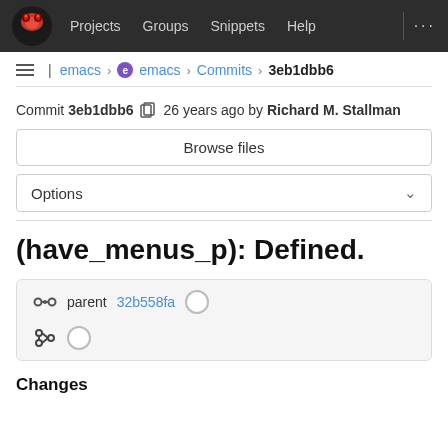Projects  Groups  Snippets  Help  ...
emacs › emacs › Commits › 3eb1dbb6
Commit 3eb1dbb6  26 years ago by Richard M. Stallman
Browse files
Options
(have_menus_p): Defined.
parent 32b558fa
Changes